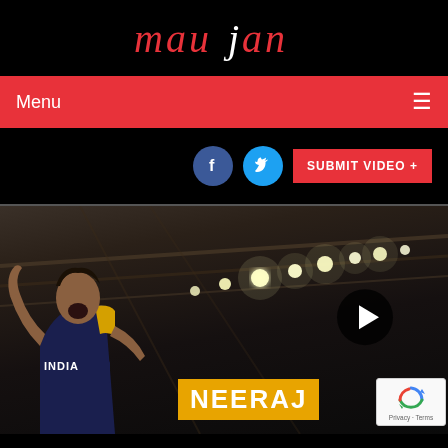maujan
Menu ☰
[Figure (screenshot): Social media icons (Facebook, Twitter) and Submit Video button with plus sign]
[Figure (photo): Athlete (Neeraj Chopra) shouting/celebrating in a stadium wearing India jersey, with a play button overlay and NEERAJ text label at bottom, reCAPTCHA badge in corner]